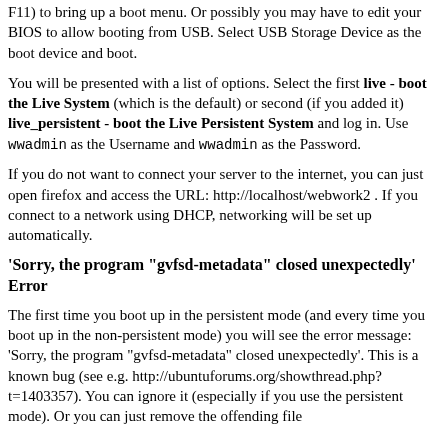F11) to bring up a boot menu. Or possibly you may have to edit your BIOS to allow booting from USB. Select USB Storage Device as the boot device and boot.
You will be presented with a list of options. Select the first live - boot the Live System (which is the default) or second (if you added it) live_persistent - boot the Live Persistent System and log in. Use wwadmin as the Username and wwadmin as the Password.
If you do not want to connect your server to the internet, you can just open firefox and access the URL: http://localhost/webwork2 . If you connect to a network using DHCP, networking will be set up automatically.
'Sorry, the program "gvfsd-metadata" closed unexpectedly' Error
The first time you boot up in the persistent mode (and every time you boot up in the non-persistent mode) you will see the error message: 'Sorry, the program "gvfsd-metadata" closed unexpectedly'. This is a known bug (see e.g. http://ubuntuforums.org/showthread.php?t=1403357). You can ignore it (especially if you use the persistent mode). Or you can just remove the offending file